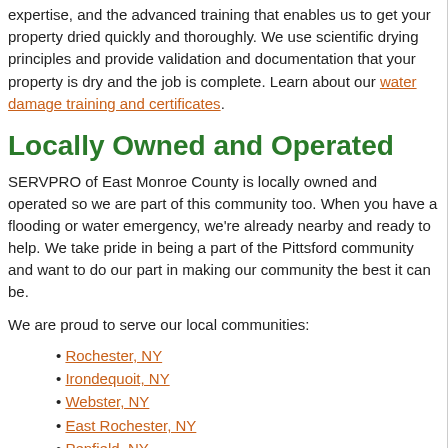expertise, and the advanced training that enables us to get your property dried quickly and thoroughly. We use scientific drying principles and provide validation and documentation that your property is dry and the job is complete. Learn about our water damage training and certificates.
Locally Owned and Operated
SERVPRO of East Monroe County is locally owned and operated so we are part of this community too. When you have a flooding or water emergency, we're already nearby and ready to help. We take pride in being a part of the Pittsford community and want to do our part in making our community the best it can be.
We are proud to serve our local communities:
Rochester, NY
Irondequoit, NY
Webster, NY
East Rochester, NY
Penfield, NY
Brighton, NY
Pittsford, NY